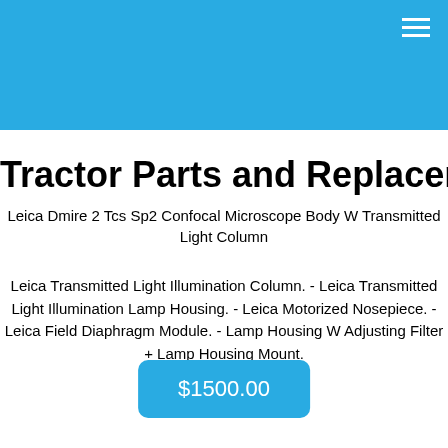Tractor Parts and Replacement
Leica Dmire 2 Tcs Sp2 Confocal Microscope Body W Transmitted Light Column
Leica Transmitted Light Illumination Column. - Leica Transmitted Light Illumination Lamp Housing. - Leica Motorized Nosepiece. - Leica Field Diaphragm Module. - Lamp Housing W Adjusting Filter + Lamp Housing Mount.
$1500.00